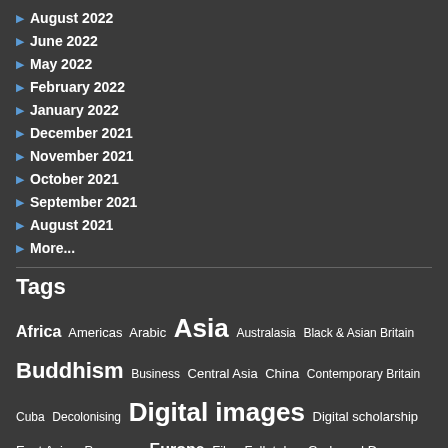August 2022
June 2022
May 2022
February 2022
January 2022
December 2021
November 2021
October 2021
September 2021
August 2021
More...
Tags
Africa Americas Arabic Asia Australasia Black & Asian Britain Buddhism Business Central Asia China Contemporary Britain Cuba Decolonising Digital images Digital scholarship East Asia eResources Europe Film Folk tales Gods and Demons Government records Hindi Humanities India Islam Law Literature Malay Manuscripts Maps Medieval history Microfilm Middle East Modern